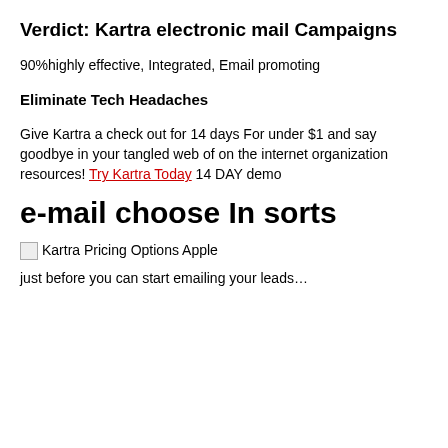Verdict: Kartra electronic mail Campaigns
90%highly effective, Integrated, Email promoting
Eliminate Tech Headaches
Give Kartra a check out for 14 days For under $1 and say goodbye in your tangled web of on the internet organization resources! Try Kartra Today 14 DAY demo
e-mail choose In sorts
[Figure (other): Broken image placeholder labeled 'Kartra Pricing Options Apple']
just before you can start emailing your leads…